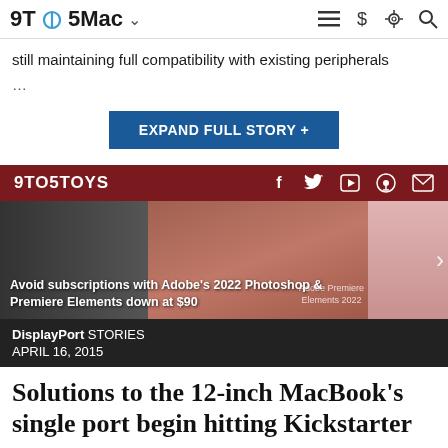9TO5Mac
still maintaining full compatibility with existing peripherals
...
EXPAND FULL STORY +
9TO5TOYS
[Figure (photo): Banner image showing a woman smiling, with Adobe Premiere Elements 2022 text overlay, dark left panel, and pink right panel. Text overlay: Avoid subscriptions with Adobe's 2022 Photoshop & Premiere Elements down at $90]
Avoid subscriptions with Adobe’s 2022 Photoshop & Premiere Elements down at $90
DisplayPort STORIES
APRIL 16, 2015
Solutions to the 12-inch MacBook’s single port begin hitting Kickstarter
Ben Lovejoy - Apr. 16th 2015 6:45 am PT @benlovejoy